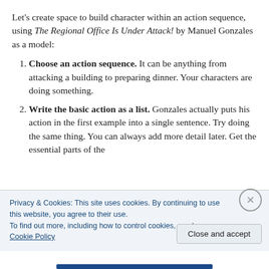Let’s create space to build character within an action sequence, using The Regional Office Is Under Attack! by Manuel Gonzales as a model:
Choose an action sequence. It can be anything from attacking a building to preparing dinner. Your characters are doing something.
Write the basic action as a list. Gonzales actually puts his action in the first example into a single sentence. Try doing the same thing. You can always add more detail later. Get the essential parts of the
Privacy & Cookies: This site uses cookies. By continuing to use this website, you agree to their use.
To find out more, including how to control cookies, see here: Cookie Policy